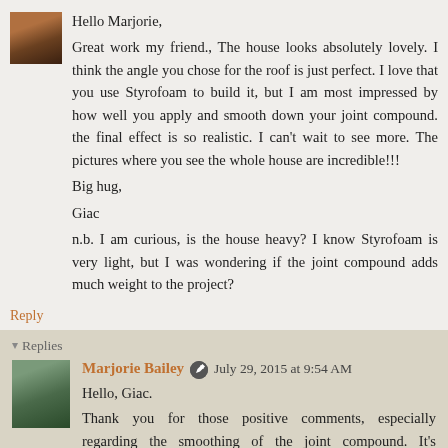[Figure (photo): Small avatar photo of a person, top left of comment]
Hello Marjorie,
Great work my friend., The house looks absolutely lovely. I think the angle you chose for the roof is just perfect. I love that you use Styrofoam to build it, but I am most impressed by how well you apply and smooth down your joint compound. the final effect is so realistic. I can't wait to see more. The pictures where you see the whole house are incredible!!!
Big hug,
Giac
n.b. I am curious, is the house heavy? I know Styrofoam is very light, but I was wondering if the joint compound adds much weight to the project?
Reply
▾ Replies
[Figure (photo): Small avatar photo of Marjorie Bailey sitting outdoors]
Marjorie Bailey  July 29, 2015 at 9:54 AM
Hello, Giac.
Thank you for those positive comments, especially regarding the smoothing of the joint compound. It's wonderful to have all those hours and hours of sanding appreciated by someone! I'm really not sure